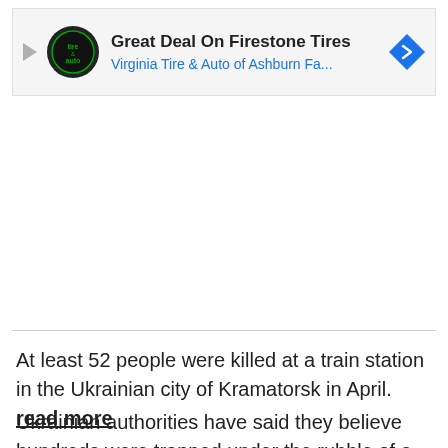[Figure (screenshot): Advertisement banner for Virginia Tire & Auto of Ashburn showing Firestone Tires deal with logo, play icon, and navigation arrow icon]
At least 52 people were killed at a train station in the Ukrainian city of Kramatorsk in April. read more
Ukrainian authorities have said they believe hundreds were trapped under the rubble of a theatre in